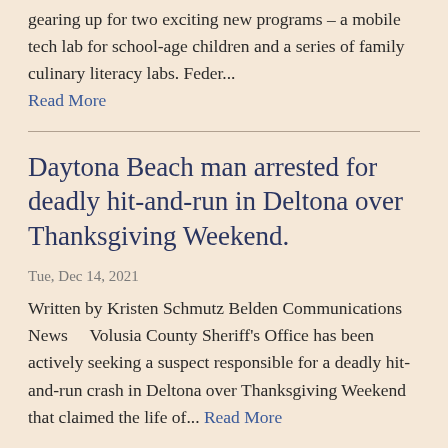gearing up for two exciting new programs – a mobile tech lab for school-age children and a series of family culinary literacy labs. Feder... Read More
Daytona Beach man arrested for deadly hit-and-run in Deltona over Thanksgiving Weekend.
Tue, Dec 14, 2021
Written by Kristen Schmutz Belden Communications News    Volusia County Sheriff's Office has been actively seeking a suspect responsible for a deadly hit-and-run crash in Deltona over Thanksgiving Weekend that claimed the life of... Read More